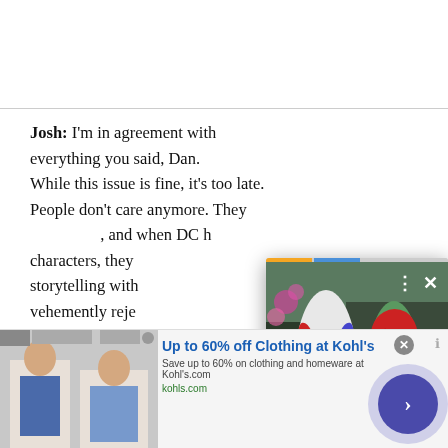Josh: I'm in agreement with everything you said, Dan. While this issue is fine, it's too late. People don't care anymore. They ..., and when DC h... characters, they ... storytelling with ... vehemently reje... g to try and corre... hopes of salvag... happen.
[Figure (screenshot): Video popup overlay showing animated characters Harley Quinn and Poison Ivy from the Harley Quinn animated series, with progress bar at top, close and options buttons, orange arrow navigation button, and title bar reading 'Harley Quinn 3×07 Review –What are bestfriends for?']
[Figure (screenshot): Advertisement banner: 'Up to 60% off Clothing at Kohl's' with image of people, subtitle 'Save up to 60% on clothing and homeware at Kohl's.com', domain 'kohls.com', with a close button and circular arrow button]